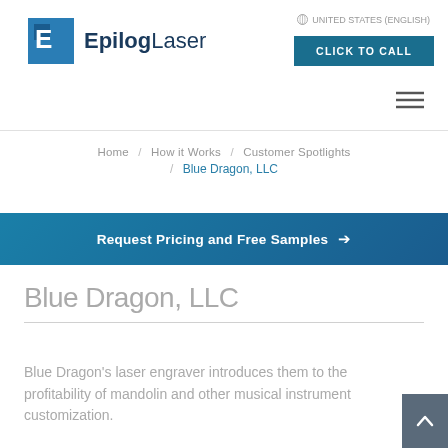[Figure (logo): Epilog Laser logo with blue square E icon and company name]
UNITED STATES (ENGLISH)
CLICK TO CALL
Home / How it Works / Customer Spotlights / Blue Dragon, LLC
Request Pricing and Free Samples →
Blue Dragon, LLC
Blue Dragon's laser engraver introduces them to the profitability of mandolin and other musical instrument customization.